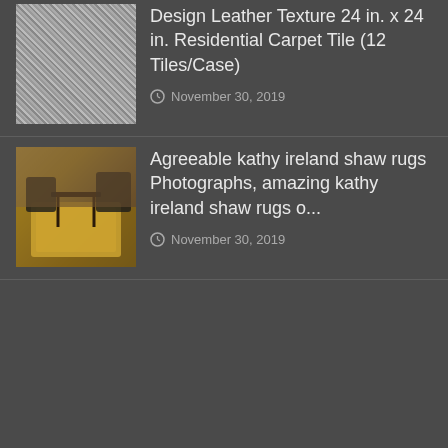[Figure (photo): Thumbnail image of carpet tile texture, gray/white speckled pattern]
Design Leather Texture 24 in. x 24 in. Residential Carpet Tile (12 Tiles/Case)
November 30, 2019
[Figure (photo): Thumbnail image of a room with a decorative rug on hardwood floor, chairs and furniture visible]
Agreeable kathy ireland shaw rugs Photographs, amazing kathy ireland shaw rugs o...
November 30, 2019